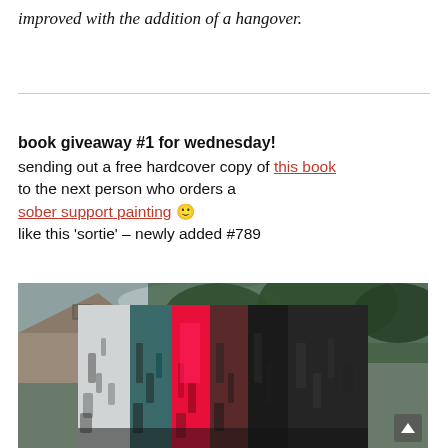improved with the addition of a hangover.
book giveaway #1 for wednesday!
sending out a free hardcover copy of this book to the next person who orders a sober support painting 🙂 like this ‘sortie’ – newly added #789
[Figure (photo): Colorful abstract sober support painting displayed outdoors against trees and rooftops. The painting features vertical stripes of black, white, teal, red/pink, and dark colors on what appears to be a large canvas or board.]